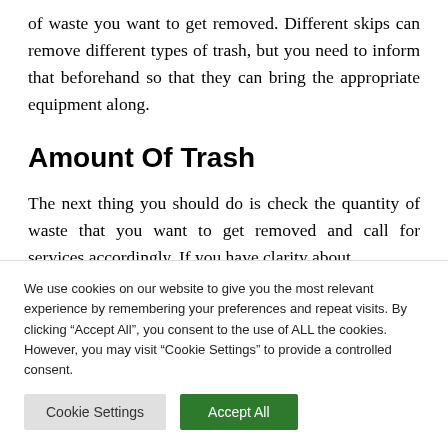of waste you want to get removed. Different skips can remove different types of trash, but you need to inform that beforehand so that they can bring the appropriate equipment along.
Amount Of Trash
The next thing you should do is check the quantity of waste that you want to get removed and call for services accordingly. If you have clarity about
We use cookies on our website to give you the most relevant experience by remembering your preferences and repeat visits. By clicking “Accept All”, you consent to the use of ALL the cookies. However, you may visit “Cookie Settings” to provide a controlled consent.
Cookie Settings | Accept All